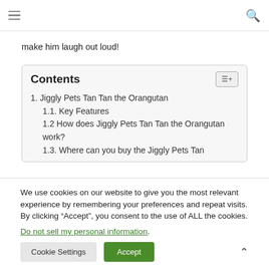[hamburger menu] [search icon]
Conference in October, I just knew that this was something that would bring a smile to his face and make him laugh out loud!
Contents
1. Jiggly Pets Tan Tan the Orangutan
  1.1. Key Features
  1.2 How does Jiggly Pets Tan Tan the Orangutan work?
  1.3. Where can you buy the Jiggly Pets Tan
We use cookies on our website to give you the most relevant experience by remembering your preferences and repeat visits. By clicking “Accept”, you consent to the use of ALL the cookies.
Do not sell my personal information.